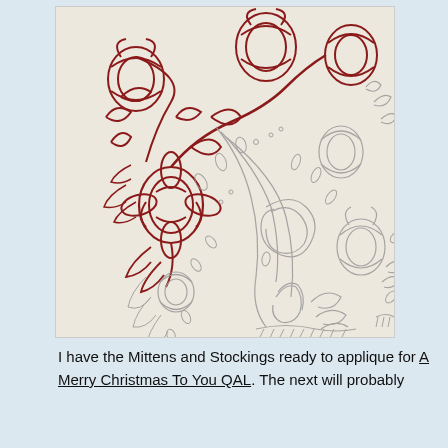[Figure (photo): An embroidery or quilting pattern on light fabric showing decorative floral and botanical designs. The upper-left portion shows completed red/dark red stitching of large ornate flowers and leaves. The remainder shows pencil or light grey traced outlines of the same style of floral, leaf, and scroll motifs awaiting stitching.]
I have the Mittens and Stockings ready to applique for A Merry Christmas To You QAL. The next will probably